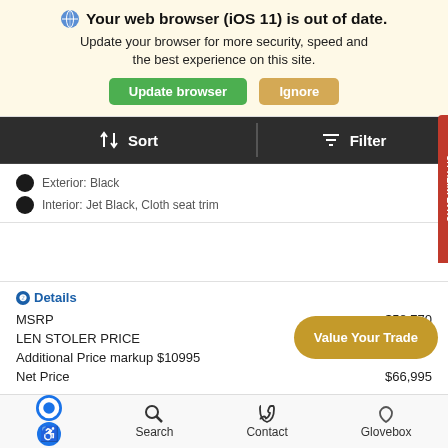⊙ Your web browser (iOS 11) is out of date. Update your browser for more security, speed and the best experience on this site.
Update browser | Ignore
↑↓ Sort | Filter
Exterior: Black
Interior: Jet Black, Cloth seat trim
❷Details
|  |  |
| --- | --- |
| MSRP | $58,770 |
| LEN STOLER PRICE |  |
| Additional Price markup $10995 |  |
| Net Price | $66,995 |
Value Your Trade
CHAT WITH US
Search | Contact | Glovebox